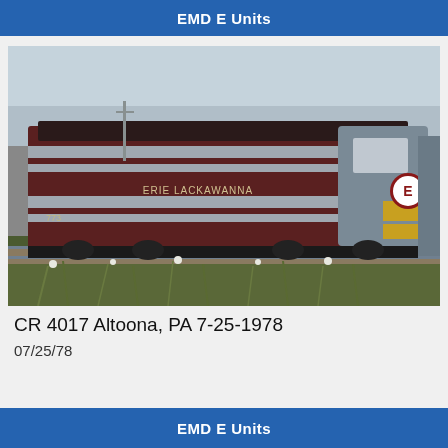EMD E Units
[Figure (photo): A locomotive in Erie Lackawanna maroon and gray livery with yellow accents, bearing the Erie Lackawanna name on the side, photographed in a rail yard with overgrown weeds in the foreground and another locomotive visible at the right edge.]
CR 4017 Altoona, PA 7-25-1978
07/25/78
EMD E Units